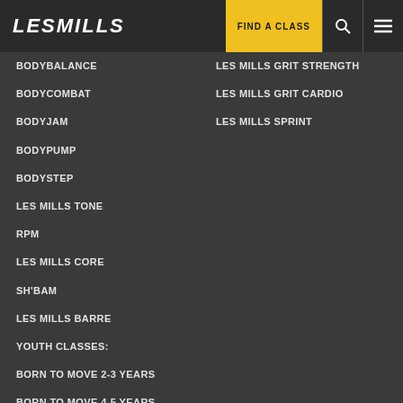LES MILLS | FIND A CLASS
BODYBALANCE
BODYCOMBAT
BODYJAM
BODYPUMP
BODYSTEP
LES MILLS TONE
RPM
LES MILLS CORE
SH'BAM
LES MILLS BARRE
YOUTH CLASSES:
BORN TO MOVE 2-3 YEARS
BORN TO MOVE 4-5 YEARS
BORN TO MOVE 6-7 YEARS
LES MILLS GRIT STRENGTH
LES MILLS GRIT CARDIO
LES MILLS SPRINT